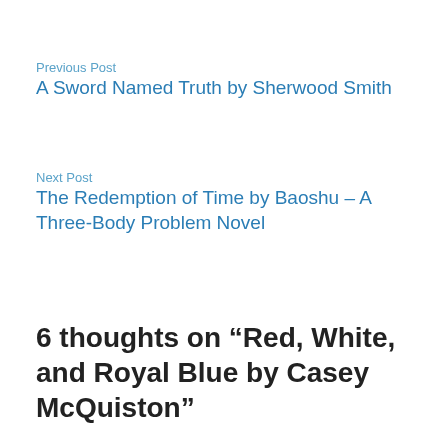Previous Post
A Sword Named Truth by Sherwood Smith
Next Post
The Redemption of Time by Baoshu – A Three-Body Problem Novel
6 thoughts on “Red, White, and Royal Blue by Casey McQuiston”